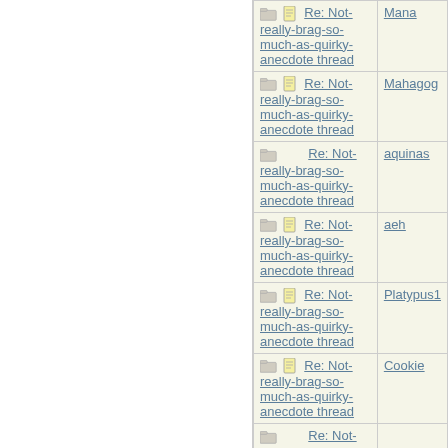| Subject | Author |
| --- | --- |
| Re: Not-really-brag-so-much-as-quirky-anecdote thread | Mana |
| Re: Not-really-brag-so-much-as-quirky-anecdote thread | Mahagog |
| Re: Not-really-brag-so-much-as-quirky-anecdote thread | aquinas |
| Re: Not-really-brag-so-much-as-quirky-anecdote thread | aeh |
| Re: Not-really-brag-so-much-as-quirky-anecdote thread | Platypus1 |
| Re: Not-really-brag-so-much-as-quirky-anecdote thread | Cookie |
| Re: Not-... |  |